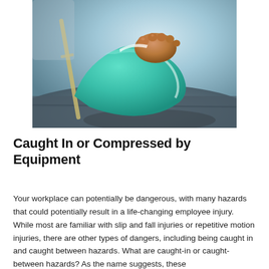[Figure (photo): A person's foot and lower leg wrapped in a teal/green orthopedic cast, resting on a dark couch or sofa, with crutches visible in the background.]
Caught In or Compressed by Equipment
Your workplace can potentially be dangerous, with many hazards that could potentially result in a life-changing employee injury. While most are familiar with slip and fall injuries or repetitive motion injuries, there are other types of dangers, including being caught in and caught between hazards. What are caught-in or caught-between hazards? As the name suggests, these